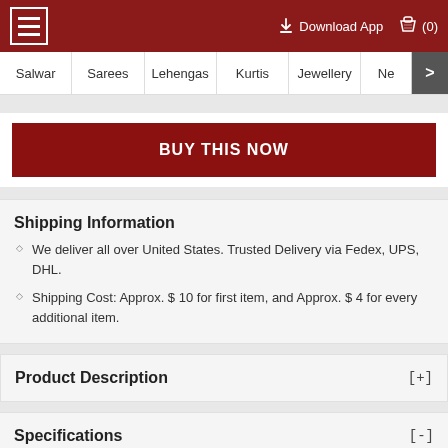≡   Download App  (0)
Salwar  Sarees  Lehengas  Kurtis  Jewellery  Ne  >
BUY THIS NOW
Shipping Information
We deliver all over United States. Trusted Delivery via Fedex, UPS, DHL.
Shipping Cost: Approx. $ 10 for first item, and Approx. $ 4 for every additional item.
Product Description [+]
Specifications [-]
Color : Blue